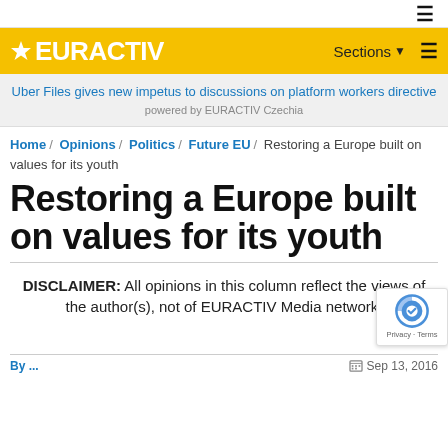≡ (hamburger menu icon)
[Figure (logo): EURACTIV logo in white text on yellow background with star icon, plus Sections menu and hamburger icon on right]
Uber Files gives new impetus to discussions on platform workers directive powered by EURACTIV Czechia
Home / Opinions / Politics / Future EU / Restoring a Europe built on values for its youth
Restoring a Europe built on values for its youth
DISCLAIMER: All opinions in this column reflect the views of the author(s), not of EURACTIV Media network.
By ... Sep 13, 2016